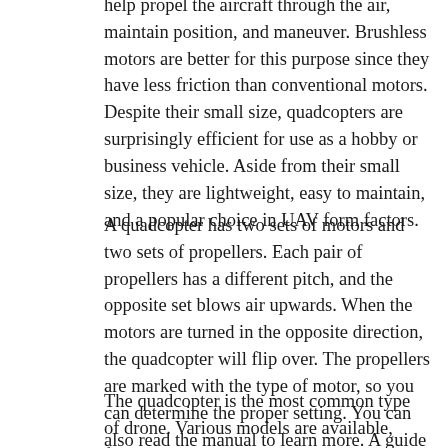help propel the aircraft through the air, maintain position, and maneuver. Brushless motors are better for this purpose since they have less friction than conventional motors. Despite their small size, quadcopters are surprisingly efficient for use as a hobby or business vehicle. Aside from their small size, they are lightweight, easy to maintain, and a popular choice in UAV form factors.
A quadcopter has two sets of motors and two sets of propellers. Each pair of propellers has a different pitch, and the opposite set blows air upwards. When the motors are turned in the opposite direction, the quadcopter will flip over. The propellers are marked with the type of motor, so you can determine the proper setting. You can also read the manual to learn more. A guide to buying a quadcopter is provided.
The quadcopter is the most common type of drone. Various models are available, from tiny nano